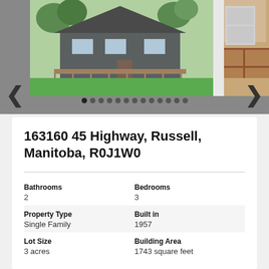[Figure (photo): Real estate listing photos: exterior of a single-family home with green lawn and deck on the left, interior kitchen/entryway on the right. Navigation arrows and dot pagination indicators visible.]
163160 45 Highway, Russell, Manitoba, R0J1W0
Bathrooms
2
Bedrooms
3
Property Type
Single Family
Built in
1957
Lot Size
3 acres
Building Area
1743 square feet